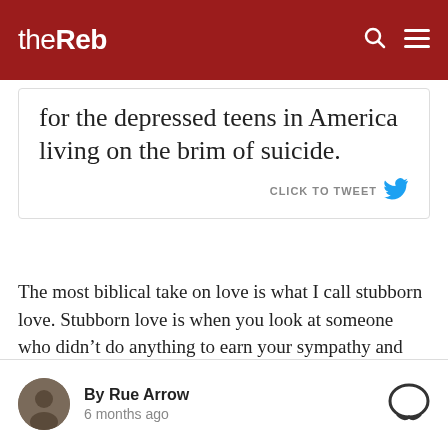theReb
for the depressed teens in America living on the brim of suicide.
The most biblical take on love is what I call stubborn love. Stubborn love is when you look at someone who didn't do anything to earn your sympathy and whisper “I’ll fight for you all the same.”
By Rue Arrow
6 months ago